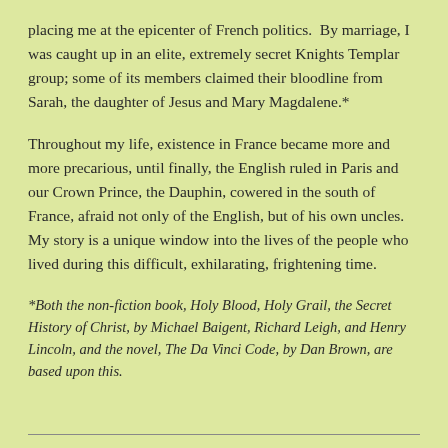placing me at the epicenter of French politics.  By marriage, I was caught up in an elite, extremely secret Knights Templar group; some of its members claimed their bloodline from Sarah, the daughter of Jesus and Mary Magdalene.*
Throughout my life, existence in France became more and more precarious, until finally, the English ruled in Paris and our Crown Prince, the Dauphin, cowered in the south of France, afraid not only of the English, but of his own uncles. My story is a unique window into the lives of the people who lived during this difficult, exhilarating, frightening time.
*Both the non-fiction book, Holy Blood, Holy Grail, the Secret History of Christ, by Michael Baigent, Richard Leigh, and Henry Lincoln, and the novel, The Da Vinci Code, by Dan Brown, are based upon this.